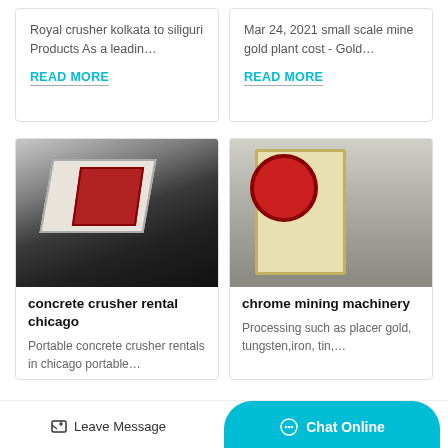Royal crusher kolkata to siliguri Products As a leadin…
READ MORE
Mar 24, 2021 small scale mine gold plant cost - Gold…
READ MORE
[Figure (photo): Mobile impact crusher on flatbed trailer in industrial yard]
concrete crusher rental chicago
Portable concrete crusher rentals in chicago portable…
[Figure (photo): Yellow jaw crusher machine in factory setting]
chrome mining machinery
Processing such as placer gold, tungsten,iron, tin,…
Leave Message
Chat Online